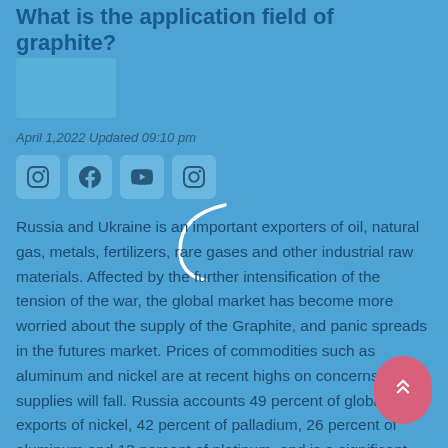What is the application field of graphite?
April 1,2022 Updated 09:10 pm
Russia and Ukraine is an important exporters of oil, natural gas, metals, fertilizers, rare gases and other industrial raw materials. Affected by the further intensification of the tension of the war, the global market has become more worried about the supply of the Graphite, and panic spreads in the futures market. Prices of commodities such as aluminum and nickel are at recent highs on concerns that supplies will fall. Russia accounts 49 percent of global exports of nickel, 42 percent of palladium, 26 percent of aluminum and 13 percent of platinum, and is a significant exporter of